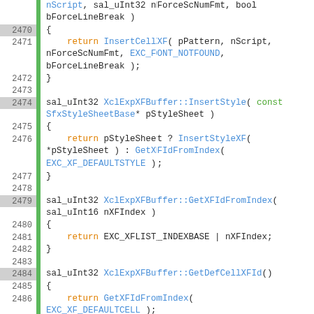[Figure (screenshot): Source code viewer showing C++ code lines 2470-2494 from XclExpXFBuffer class with syntax highlighting. Green keywords, blue identifiers, orange return statements, gray line numbers, green gutter bar.]